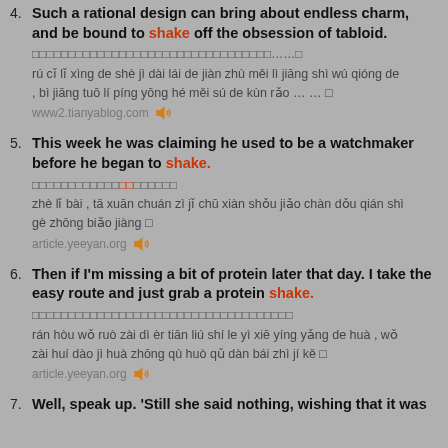4. Such a rational design can bring about endless charm, and be bound to shake off the obsession of tabloid.
□□□□□□□□□□□□□□□□□□□□□□□□□□□□□□□□□……□
rú cǐ lǐ xìng de shè jì dài lái de jiàn zhù měi lì jiāng shì wú qióng de , bì jiāng tuō lí píng yōng hé měi sú de kùn rǎo … … □
www2.tianyablog.com
5. This week he was claiming he used to be a watchmaker before he began to shake.
□□□□□□□□□□□□□□□□□□□□□□
zhè lǐ bài , tā xuān chuán zì jǐ chū xiàn shǒu jiǎo chàn dǒu qián shì gè zhōng biǎo jiàng □
article.yeeyan.org
6. Then if I'm missing a bit of protein later that day. I take the easy route and just grab a protein shake.
□□□□□□□□□□□□□□□□□□□□□□□□□□□□□□□□□□□□
rán hòu wǒ ruò zài dì èr tiān liú shí le yì xiē yíng yǎng de huà , wǒ zài huí dào jì huà zhōng qù huò qǔ dàn bái zhì jí kě □
article.yeeyan.org
7. Well, speak up. 'Still she said nothing, wishing that it was